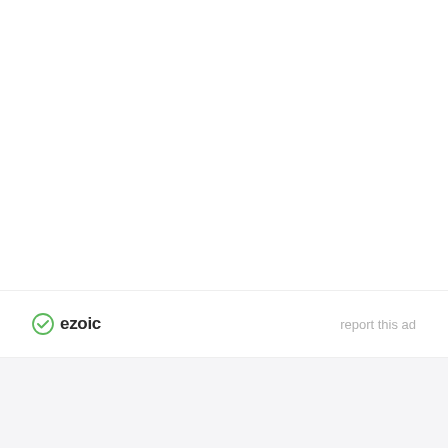[Figure (logo): Ezoic logo with green circle checkmark icon and bold text 'ezoic']
report this ad
Search ...